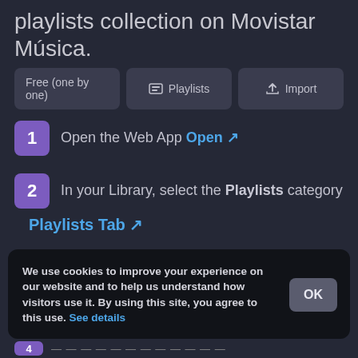playlists collection on Movistar Música.
Free (one by one) | Playlists | Import
1 Open the Web App Open ↗
2 In your Library, select the Playlists category
Playlists Tab ↗
3 Select Import Playlist in top right of the
We use cookies to improve your experience on our website and to help us understand how visitors use it. By using this site, you agree to this use. See details
OK